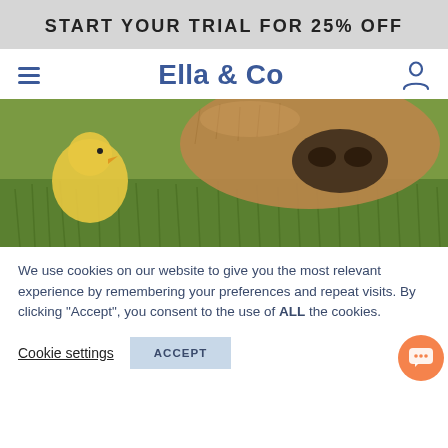START YOUR TRIAL FOR 25% OFF
Ella & Co
[Figure (photo): Close-up photo of a dog's nose and a baby chick on green grass]
We use cookies on our website to give you the most relevant experience by remembering your preferences and repeat visits. By clicking "Accept", you consent to the use of ALL the cookies.
Cookie settings   ACCEPT